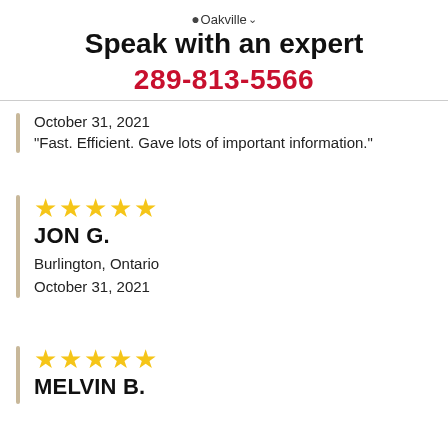Oakville · Speak with an expert
289-813-5566
October 31, 2021
"Fast. Efficient. Gave lots of important information."
★★★★★
JON G.
Burlington, Ontario
October 31, 2021
★★★★★
MELVIN B.